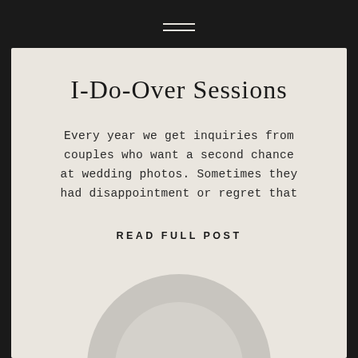☰ (hamburger menu icon)
I-Do-Over Sessions
Every year we get inquiries from couples who want a second chance at wedding photos. Sometimes they had disappointment or regret that
READ FULL POST
[Figure (illustration): Bottom portion of a circular photo showing a soft grey landscape or couple silhouette, partially visible at the bottom of the card.]